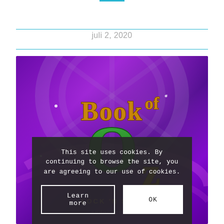juli 2, 2020
[Figure (screenshot): Book of Oz Lock 'N Spin slot game promotional image with golden 3D lettering on a purple/violet background]
This site uses cookies. By continuing to browse the site, you are agreeing to our use of cookies.